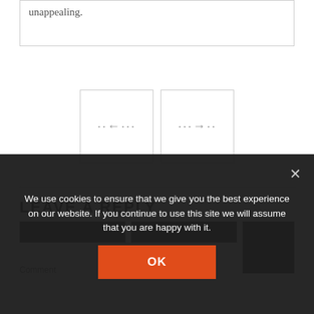unappealing.
[Figure (other): Two navigation button icons side by side, each showing a small dotted arrow icon in the center]
LEAVE A REPLY
We use cookies to ensure that we give you the best experience on our website. If you continue to use this site we will assume that you are happy with it.
Comment